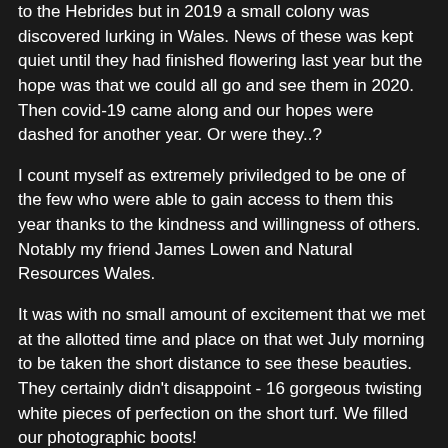this would have meant wrongly and legitimately every trip up to the Hebrides but in 2019 a small colony was discovered lurking in Wales. News of these was kept quiet until they had finished flowering last year but the hope was that we could all go and see them in 2020. Then covid-19 came along and our hopes were dashed for another year. Or were they..?
I count myself as extremely priviledged to be one of the few who were able to gain access to them this year thanks to the kindness and willingness of others. Notably my friend James Lowen and Natural Resources Wales.
It was with no small amount of excitement that we met at the allotted time and place on that wet July morning to be taken the short distance to see these beauties. They certainly didn't disappoint - 16 gorgeous twisting white pieces of perfection on the short turf. We filled our photographic boots!
[Figure (photo): Photograph of white spiral orchid flowers (likely Spiranthes) against a blurred olive-green background, showing delicate twisting white flower spikes]